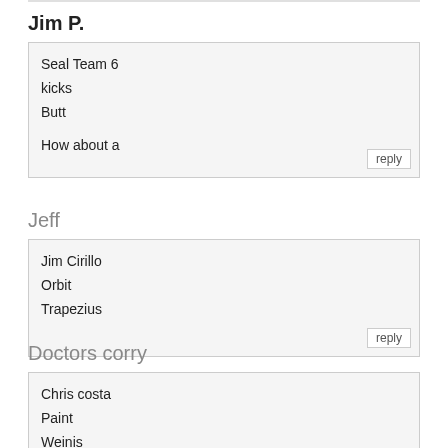Jim P.
Seal Team 6
kicks
Butt

How about a
Jeff
Jim Cirillo
Orbit
Trapezius
Doctors corry
Chris costa
Paint
Weinis